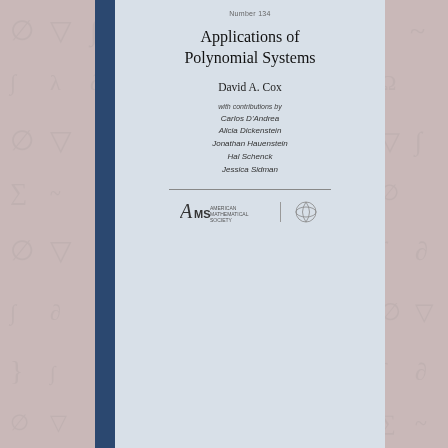[Figure (illustration): Book cover for 'Applications of Polynomial Systems' by David A. Cox, with contributions by Carlos D'Andrea, Alicia Dickenstein, Jonathan Hauenstein, Hal Schenck, Jessica Sidman. Published by AMS (American Mathematical Society). Dark blue spine on left, light grayish-blue cover with text and AMS logo.]
Updates
Libros de matemática para chicos/ Math books for children
Math book for 10-14 year old children, 2020: Matemax: English+ Spanish Edition, published by the American Mathematical Society.
Matemax, La matemática en todas partes. Para niños de 11 y 12 años. Segunda edición. Ed. Novedades Educativas, Buenos Aires, 2000. Foto de la tapa